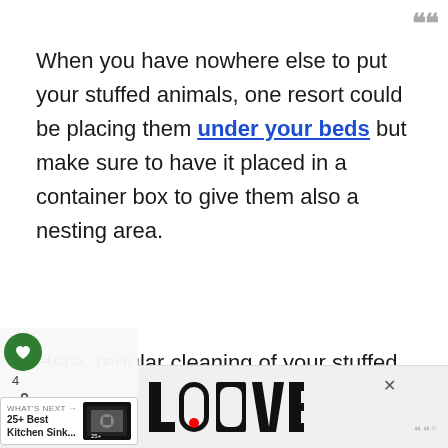When you have nowhere else to put your stuffed animals, one resort could be placing them under your beds but make sure to have it placed in a container box to give them also a nesting area.
Here, regular cleaning of your stuffed animals must because they easily accumulate dust, especially when they are concealed below the bed.
[Figure (screenshot): Social media overlay with heart icon (green circle, count 4) and share button, plus a 'What's Next' promo showing '25+ Best Kitchen Sink...' with thumbnail image]
[Figure (logo): LOOVE decorative logo in black and white art style at the bottom of the page, with a close X button and page number 8]